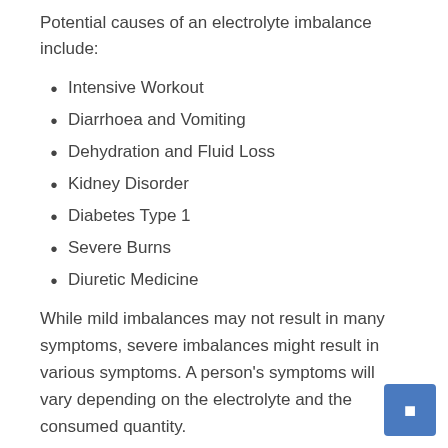Potential causes of an electrolyte imbalance include:
Intensive Workout
Diarrhoea and Vomiting
Dehydration and Fluid Loss
Kidney Disorder
Diabetes Type 1
Severe Burns
Diuretic Medicine
While mild imbalances may not result in many symptoms, severe imbalances might result in various symptoms. A person's symptoms will vary depending on the electrolyte and the consumed quantity.
Signs of a severe electrolyte imbalance include: